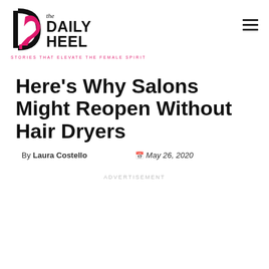[Figure (logo): The Daily Heel logo — stylized high heel shoe icon in pink and black, with 'the DAILY HEEL' text and tagline 'STORIES THAT ELEVATE THE FEMALE SPIRIT' in pink]
Here's Why Salons Might Reopen Without Hair Dryers
By Laura Costello   May 26, 2020
ADVERTISEMENT